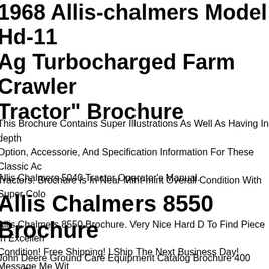1968 Allis-chalmers Model Hd-11 Ag Turbocharged Farm Crawler Tractor" Brochure
This Brochure Contains Super Illustrations As Well As Having In-depth Option, Accessorie, And Specification Information For These Classic Ac Tractors. Brochure Is In Near Mint-mint Overall Condition With Super Colo
Allis Chalmers 5040 Tractor Operator's Manual.
Allis Chalmers 8550 Brochure
Allis Chalmers 8550 Brochure. Very Nice Hard D To Find Piece In Excellent Condition! Free Shipping! I Ship The Next Business Day! Message Me With Any Questions Or Concerns. Thank You!
John Deere Ground Care Equipment Catalog Brochure 400 Lawn Tractor 400 5300 670. In Good Condition.
1952 "the Oliver 66 77 88 Diesel Tractor" Catalog Brochure Very Nice. This Is An Original "oliver 66, 77, & 88 Diesel Tractor" Catalog Brochure (june